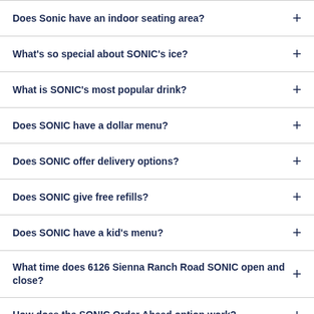Does Sonic have an indoor seating area?
What's so special about SONIC's ice?
What is SONIC's most popular drink?
Does SONIC have a dollar menu?
Does SONIC offer delivery options?
Does SONIC give free refills?
Does SONIC have a kid's menu?
What time does 6126 Sienna Ranch Road SONIC open and close?
How does the SONIC Order Ahead option work?